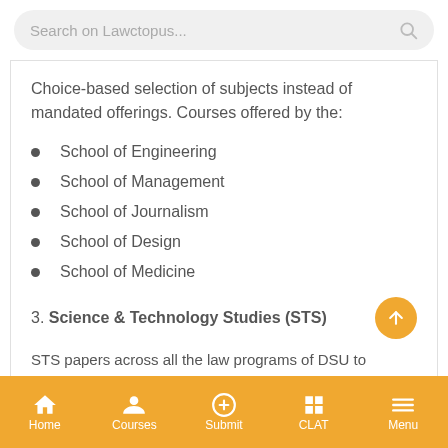Search on Lawctopus...
Choice-based selection of subjects instead of mandated offerings. Courses offered by the:
School of Engineering
School of Management
School of Journalism
School of Design
School of Medicine
3. Science & Technology Studies (STS)
STS papers across all the law programs of DSU to
Home  Courses  Submit  CLAT  Menu